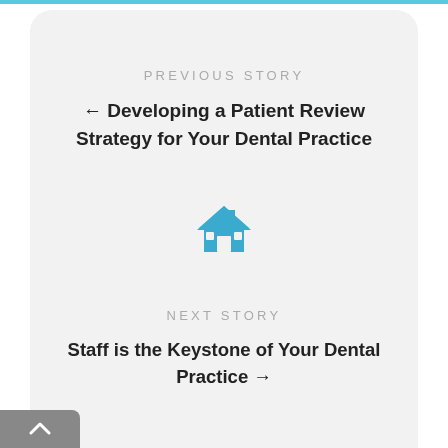PREVIOUS STORY
← Developing a Patient Review Strategy for Your Dental Practice
[Figure (illustration): Blue house/home icon]
NEXT STORY
Staff is the Keystone of Your Dental Practice →